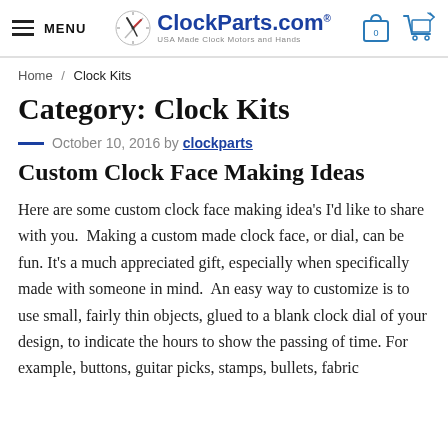MENU | ClockParts.com® USA Made Clock Motors and Hands
Home / Clock Kits
Category: Clock Kits
October 10, 2016 by clockparts
Custom Clock Face Making Ideas
Here are some custom clock face making idea's I'd like to share with you.  Making a custom made clock face, or dial, can be fun. It's a much appreciated gift, especially when specifically made with someone in mind.  An easy way to customize is to use small, fairly thin objects, glued to a blank clock dial of your design, to indicate the hours to show the passing of time. For example, buttons, guitar picks, stamps, bullets, fabric